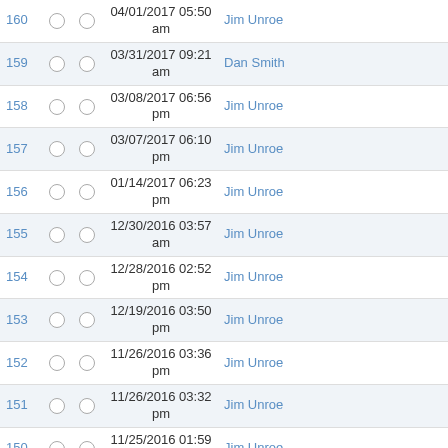| ID |  |  | Date | User | Note |
| --- | --- | --- | --- | --- | --- |
| 160 |  |  | 04/01/2017 05:50 am | Jim Unroe |  |
| 159 |  |  | 03/31/2017 09:21 am | Dan Smith |  |
| 158 |  |  | 03/08/2017 06:56 pm | Jim Unroe |  |
| 157 |  |  | 03/07/2017 06:10 pm | Jim Unroe |  |
| 156 |  |  | 01/14/2017 06:23 pm | Jim Unroe |  |
| 155 |  |  | 12/30/2016 03:57 am | Jim Unroe |  |
| 154 |  |  | 12/28/2016 02:52 pm | Jim Unroe |  |
| 153 |  |  | 12/19/2016 03:50 pm | Jim Unroe |  |
| 152 |  |  | 11/26/2016 03:36 pm | Jim Unroe |  |
| 151 |  |  | 11/26/2016 03:32 pm | Jim Unroe |  |
| 150 |  |  | 11/25/2016 01:59 pm | Jim Unroe |  |
| 149 |  |  | 11/17/2016 03:14 am | Jim Unroe |  |
| 148 |  |  | 11/15/2016 02:33 pm | Mathias Weyland | Adding DJ-G7EG to the list of supp |
| 147 |  |  | 11/09/2016 02:28 am | Jim Unroe |  |
| 146 |  |  | 11/03/2016 01:00 | Tyler Tidman |  |